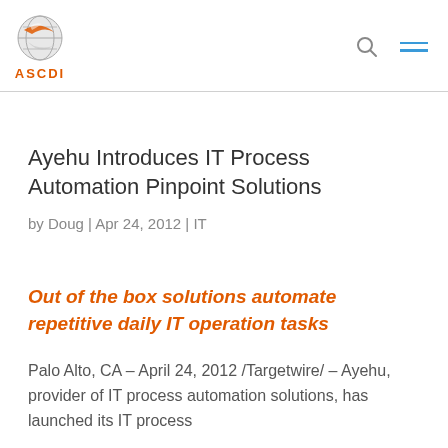ASCDI
Ayehu Introduces IT Process Automation Pinpoint Solutions
by Doug | Apr 24, 2012 | IT
Out of the box solutions automate repetitive daily IT operation tasks
Palo Alto, CA – April 24, 2012 /Targetwire/ – Ayehu, provider of IT process automation solutions, has launched its IT process